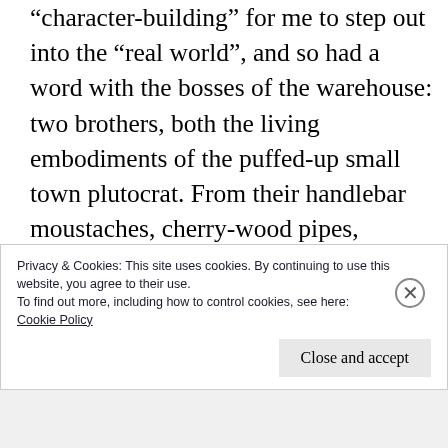“character-building” for me to step out into the “real world”, and so had a word with the bosses of the warehouse: two brothers, both the living embodiments of the puffed-up small town plutocrat. From their handlebar moustaches, cherry-wood pipes, watch-chains and waistcoats, to the cut-glass decanters of whisky in their offices and the mahogany veneer on the dashboards of their Bentleys, they could have stepped straight from a left-
Privacy & Cookies: This site uses cookies. By continuing to use this website, you agree to their use.
To find out more, including how to control cookies, see here:
Cookie Policy
Close and accept